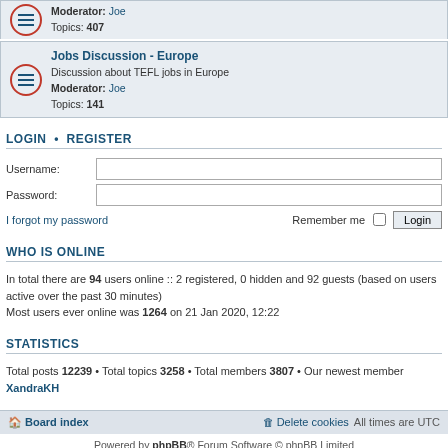[Figure (other): Forum row showing partially visible forum entry with Moderator: Joe and Topics: 407]
[Figure (other): Forum row: Jobs Discussion - Europe, Discussion about TEFL jobs in Europe, Moderator: Joe, Topics: 141]
LOGIN • REGISTER
Username:
Password:
I forgot my password
Remember me  Login
WHO IS ONLINE
In total there are 94 users online :: 2 registered, 0 hidden and 92 guests (based on users active over the past 30 minutes)
Most users ever online was 1264 on 21 Jan 2020, 12:22
STATISTICS
Total posts 12239 • Total topics 3258 • Total members 3807 • Our newest member XandraKH
Board index   Delete cookies   All times are UTC
Powered by phpBB® Forum Software © phpBB Limited
Privacy | Terms